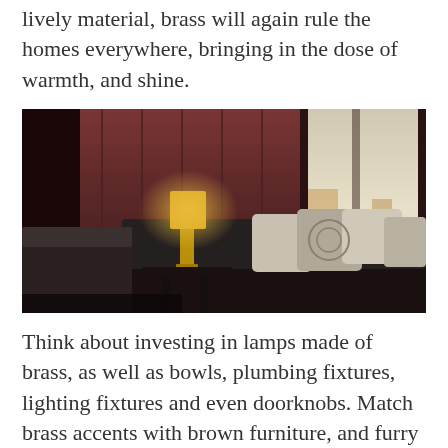lively material, brass will again rule the homes everywhere, bringing in the dose of warmth, and shine.
[Figure (photo): Interior photo of a dark, moody living room featuring a glowing brass table lamp on a dark side table, dark upholstered sofa with decorative pillows, dark wood paneled walls, and large windows with city view outside.]
Think about investing in lamps made of brass, as well as bowls, plumbing fixtures, lighting fixtures and even doorknobs. Match brass accents with brown furniture, and furry grey floor